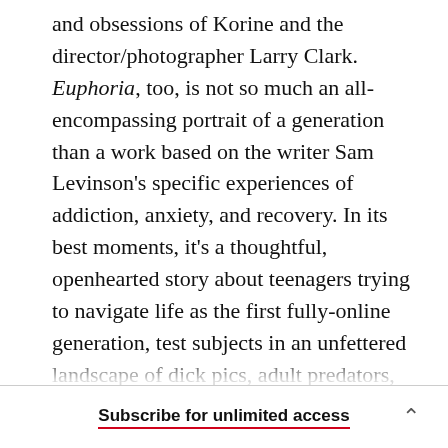and obsessions of Korine and the director/photographer Larry Clark. Euphoria, too, is not so much an all-encompassing portrait of a generation than a work based on the writer Sam Levinson's specific experiences of addiction, anxiety, and recovery. In its best moments, it's a thoughtful, openhearted story about teenagers trying to navigate life as the first fully-online generation, test subjects in an unfettered landscape of dick pics, adult predators, and synthetic hallucinogens. But it's also the kind of drama so relentlessly provocative—images of erect penises crop up with
Subscribe for unlimited access